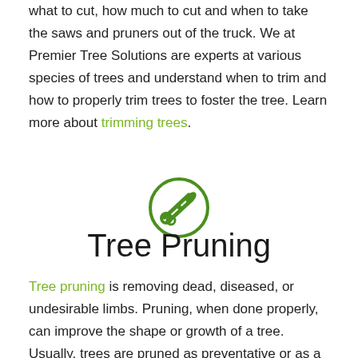what to cut, how much to cut and when to take the saws and pruners out of the truck. We at Premier Tree Solutions are experts at various species of trees and understand when to trim and how to properly trim trees to foster the tree. Learn more about trimming trees.
[Figure (illustration): A circular green icon containing a pruning shears/saw tool silhouette]
Tree Pruning
Tree pruning is removing dead, diseased, or undesirable limbs. Pruning, when done properly, can improve the shape or growth of a tree. Usually, trees are pruned as preventative or as a corrective measure